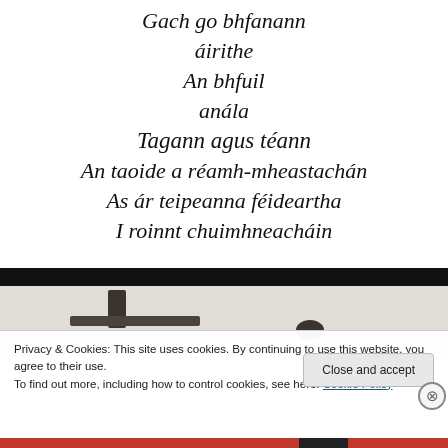Gach go bhfanann
áirithe
An bhfuil
anála
Tagann agus téann
An taoide a réamh-mheastachán
As ár teipeanna féideartha
I roinnt chuimhneacháin
[Figure (photo): Partial image of a dark metal tool or implement against a light background, with a black header bar across the top.]
Privacy & Cookies: This site uses cookies. By continuing to use this website, you agree to their use.
To find out more, including how to control cookies, see here: Cookie Policy